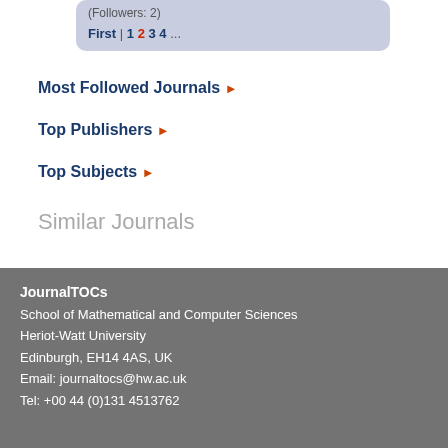(Followers: 2)
First | 1 2 3 4 ...
Most Followed Journals ▶
Top Publishers ▶
Top Subjects ▶
Similar Journals
JournalTOCs
School of Mathematical and Computer Sciences
Heriot-Watt University
Edinburgh, EH14 4AS, UK
Email: journaltocs@hw.ac.uk
Tel: +00 44 (0)131 4513762